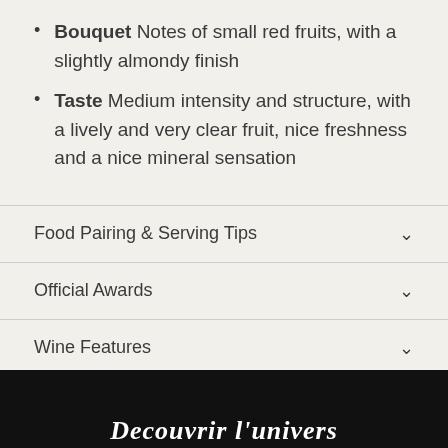Bouquet Notes of small red fruits, with a slightly almondy finish
Taste Medium intensity and structure, with a lively and very clear fruit, nice freshness and a nice mineral sensation
Food Pairing & Serving Tips
Official Awards
Wine Features
Share
Decouvrir l'univers